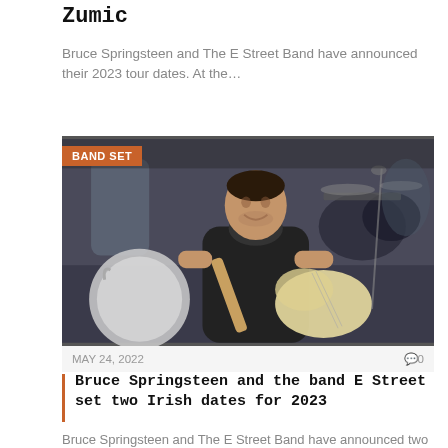Zumic
Bruce Springsteen and The E Street Band have announced their 2023 tour dates. At the…
[Figure (photo): Bruce Springsteen playing guitar on stage, wearing a black sleeveless shirt and scarf, with band members and drums visible in the background. Orange badge reading 'BAND SET' in top-left corner.]
MAY 24, 2022   0
Bruce Springsteen and the band E Street set two Irish dates for 2023
Bruce Springsteen and The E Street Band have announced two